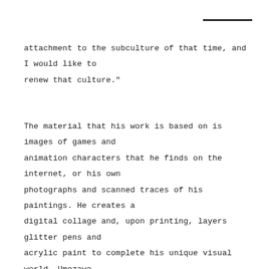attachment to the subculture of that time, and I would like to renew that culture."
The material that his work is based on is images of games and animation characters that he finds on the internet, or his own photographs and scanned traces of his paintings. He creates a digital collage and, upon printing, layers glitter pens and acrylic paint to complete his unique visual world. Umezawa began to exhibit work created through this process around 2008, a time in which the terms '10s' was already widely used. It was also in the era of Twitter, and Niconico had gained